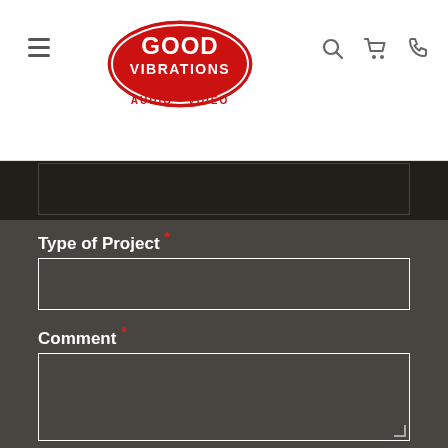[Figure (logo): Good Vibrations Audio Video logo — red oval with white GOOD VIBRATIONS text and AUDIO • VIDEO subtitle]
Type of Project *
Comment *